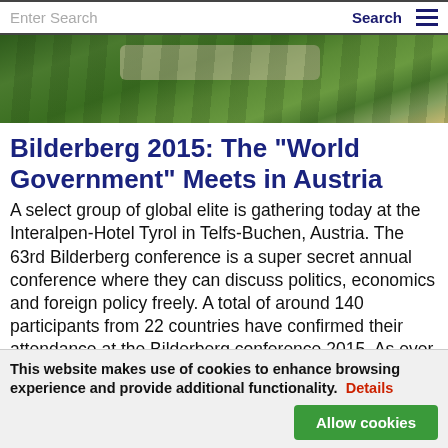Enter Search   Search   ☰
[Figure (photo): Aerial view of a hotel building surrounded by dense green forest on a hillside in Austria]
Bilderberg 2015: The "World Government" Meets in Austria
A select group of global elite is gathering today at the Interalpen-Hotel Tyrol in Telfs-Buchen, Austria. The 63rd Bilderberg conference is a super secret annual conference where they can discuss politics, economics and foreign policy freely. A total of around 140 participants from 22 countries have confirmed their attendance at the Bilderberg conference 2015. As ever, a diverse group of political leaders and experts from industry and finance have been invited. This year the list includes nine Austrians. Key talking points on the agenda include the Ukrainian crisis, Greece, Middle East and Terrorism (see detailed list below). Security is tight -
This website makes use of cookies to enhance browsing experience and provide additional functionality. Details
Allow cookies